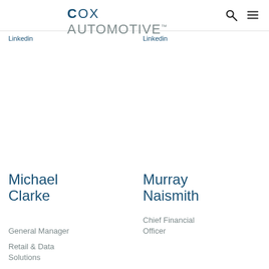Cox Automotive
Linkedin
Linkedin
Michael Clarke
General Manager
Retail & Data Solutions
Murray Naismith
Chief Financial Officer